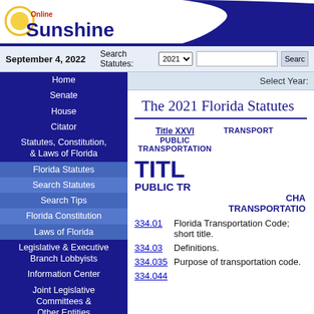[Figure (logo): Online Sunshine logo with sun graphic and blue curved header band]
September 4, 2022   Search Statutes: 2021   Search
Home
Senate
House
Citator
Statutes, Constitution, & Laws of Florida
Florida Statutes
Search Statutes
Search Tips
Florida Constitution
Laws of Florida
Legislative & Executive Branch Lobbyists
Information Center
Joint Legislative Committees & Other Entities
Historical Committees
Florida Government Efficiency Task Force
Legislative Employment
Legistore
Select Year:
The 2021 Florida Statutes
Title XXVI   PUBLIC TRANSPORTATION   TRANSPORTATION
TITLE   PUBLIC TR   CHA   TRANSPORTATION
334.01  Florida Transportation Code; short title.
334.03  Definitions.
334.035  Purpose of transportation code.
334.044